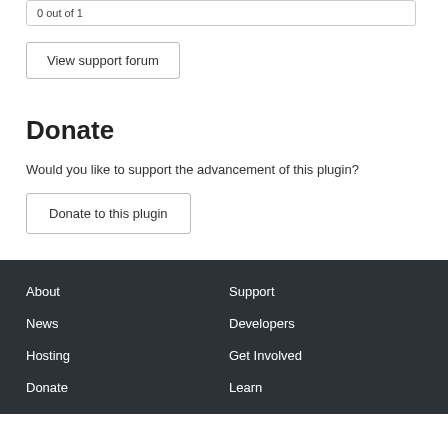0 out of 1
View support forum
Donate
Would you like to support the advancement of this plugin?
Donate to this plugin
About
Support
News
Developers
Hosting
Get Involved
Donate
Learn